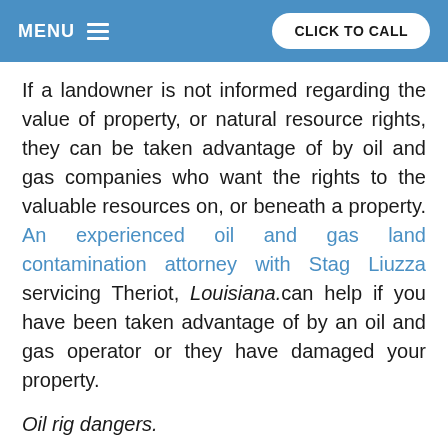MENU   CLICK TO CALL
If a landowner is not informed regarding the value of property, or natural resource rights, they can be taken advantage of by oil and gas companies who want the rights to the valuable resources on, or beneath a property. An experienced oil and gas land contamination attorney with Stag Liuzza servicing Theriot, Louisiana.can help if you have been taken advantage of by an oil and gas operator or they have damaged your property.
Oil rig dangers.
A floater platform rig is a type of offshore oil rig platform. Some of the largest movable man-made